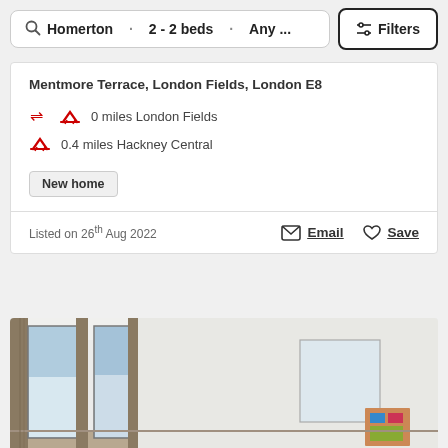Homerton · 2 - 2 beds · Any ... Filters
Mentmore Terrace, London Fields, London E8
0 miles London Fields
0.4 miles Hackney Central
New home
Listed on 26th Aug 2022
Email  Save
[Figure (photo): Interior photo of a bright room with large floor-to-ceiling windows, white walls and ceiling, and warm-toned curtains and flooring.]